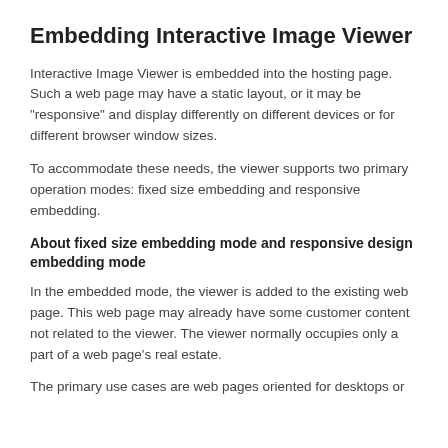Embedding Interactive Image Viewer
Interactive Image Viewer is embedded into the hosting page. Such a web page may have a static layout, or it may be "responsive" and display differently on different devices or for different browser window sizes.
To accommodate these needs, the viewer supports two primary operation modes: fixed size embedding and responsive embedding.
About fixed size embedding mode and responsive design embedding mode
In the embedded mode, the viewer is added to the existing web page. This web page may already have some customer content not related to the viewer. The viewer normally occupies only a part of a web page's real estate.
The primary use cases are web pages oriented for desktops or